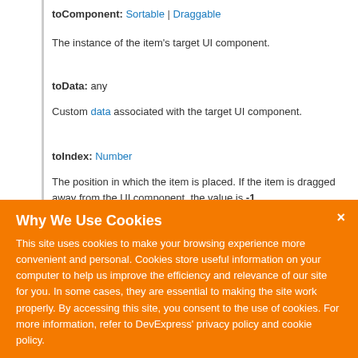toComponent: Sortable | Draggable
The instance of the item's target UI component.
toData: any
Custom data associated with the target UI component.
toIndex: Number
The position in which the item is placed. If the item is dragged away from the UI component, the value is -1.
Default Value: null
Why We Use Cookies
This site uses cookies to make your browsing experience more convenient and personal. Cookies store useful information on your computer to help us improve the efficiency and relevance of our site for you. In some cases, they are essential to making the site work properly. By accessing this site, you consent to the use of cookies. For more information, refer to DevExpress' privacy policy and cookie policy.
I UNDERSTAND
Information about the event that caused the function's execution.